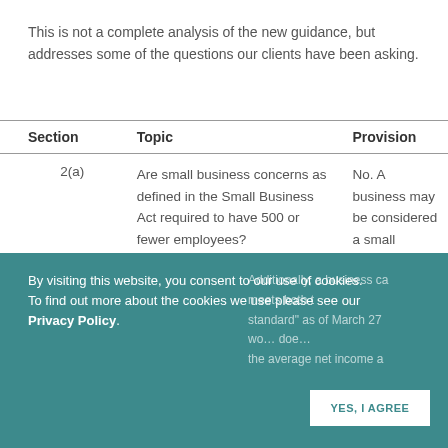This is not a complete analysis of the new guidance, but addresses some of the questions our clients have been asking.
| Section | Topic | Provision |
| --- | --- | --- |
| 2(a) | Are small business concerns as defined in the Small Business Act required to have 500 or fewer employees? | No. A business may be considered a small business concern even if it has more than 500 employees if it meets the SBA's employee-based size standard corresponding to its primary industry. To determine if your business... |
By visiting this website, you consent to our use of cookies. To find out more about the cookies we use please see our Privacy Policy.
Additionally, a business ca... meets both t... standard as of March 27... wo... doe... the average net income a...